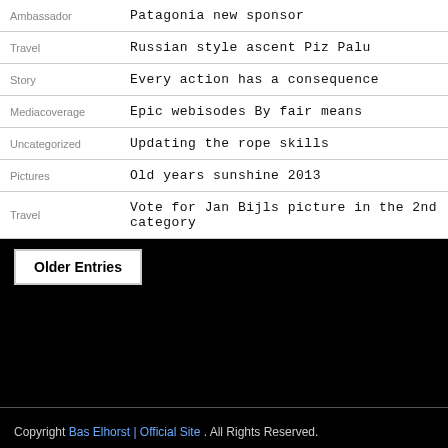| Category | Title |
| --- | --- |
| Ambassador | Patagonia new sponsor |
| Travel | Russian style ascent Piz Palu |
| Story | Every action has a consequence |
| Mediacoverage | Epic webisodes By fair means |
| Uncategorized | Updating the rope skills |
| Pictures | Old years sunshine 2013 |
| Travel | Vote for Jan Bijls picture in the 2nd category |
Older Entries
Copyright Bas Elhorst | Official Site . All Rights Reserved.